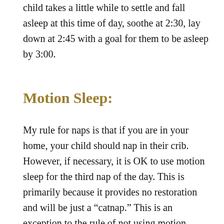child takes a little while to settle and fall asleep at this time of day, soothe at 2:30, lay down at 2:45 with a goal for them to be asleep by 3:00.
Motion Sleep:
My rule for naps is that if you are in your home, your child should nap in their crib. However, if necessary, it is OK to use motion sleep for the third nap of the day. This is primarily because it provides no restoration and will be just a “catnap.” This is an exception to the rule of not using motion sleep. If you need to run an errand or pick up an older child from daycare or an activity, it is OK to let your little one